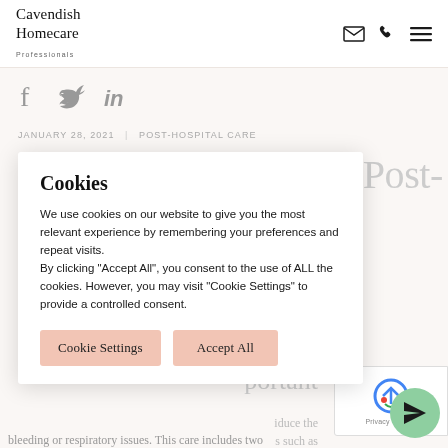Cavendish Homecare Professionals
[Figure (logo): Cavendish Homecare Professionals logo with mail, phone, and menu icons]
[Figure (infographic): Social media icons: Facebook, Twitter, LinkedIn]
JANUARY 28, 2021  |  POST-HOSPITAL CARE
n Post-
Cookies
We use cookies on our website to give you the most relevant experience by remembering your preferences and repeat visits.
By clicking "Accept All", you consent to the use of ALL the cookies. However, you may visit "Cookie Settings" to provide a controlled consent.
Cookie Settings    Accept All
portant
iduce the
s such as
bleeding or respiratory issues. This care includes two